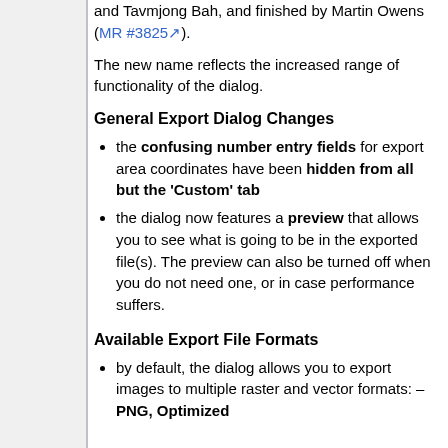and Tavmjong Bah, and finished by Martin Owens (MR #3825).
The new name reflects the increased range of functionality of the dialog.
General Export Dialog Changes
the confusing number entry fields for export area coordinates have been hidden from all but the 'Custom' tab
the dialog now features a preview that allows you to see what is going to be in the exported file(s). The preview can also be turned off when you do not need one, or in case performance suffers.
Available Export File Formats
by default, the dialog allows you to export images to multiple raster and vector formats: – PNG, Optimized